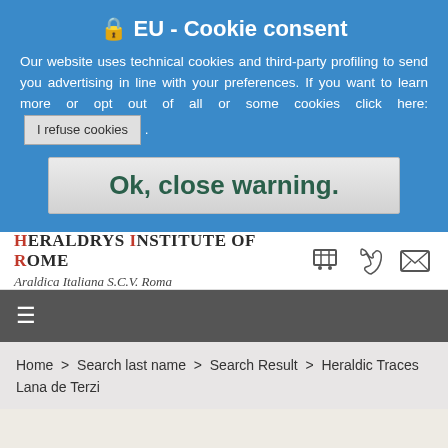🔒 EU - Cookie consent
Our website uses technical cookies and third-party profiling to send you advertising in line with your preferences. If you want to learn more or opt out of all or some cookies click here: I refuse cookies .
Ok, close warning.
[Figure (logo): Heraldrys Institute of Rome logo with text 'Araldica Italiana S.C.V. Roma' in italic script]
[Figure (infographic): Header icons: shopping cart, phone, and email icons]
≡
Home > Search last name > Search Result > Heraldic Traces Lana de Terzi